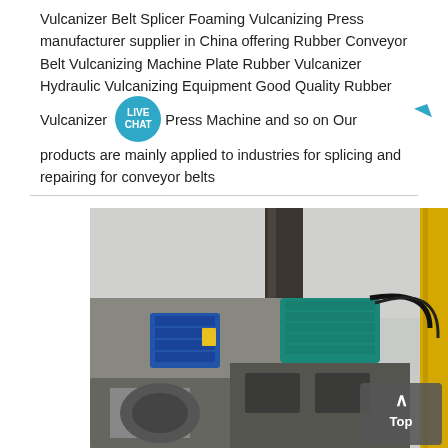Vulcanizer Belt Splicer Foaming Vulcanizing Press manufacturer supplier in China offering Rubber Conveyor Belt Vulcanizing Machine Plate Rubber Vulcanizer Hydraulic Vulcanizing Equipment Good Quality Rubber Vulcanizer Press Machine and so on Our products are mainly applied to industries for splicing and repairing for conveyor belts
[Figure (photo): Industrial machinery photo showing a vulcanizing/press machine with blue electric motor components, yellow frame elements, and heavy grey metalwork, photographed in an industrial facility.]